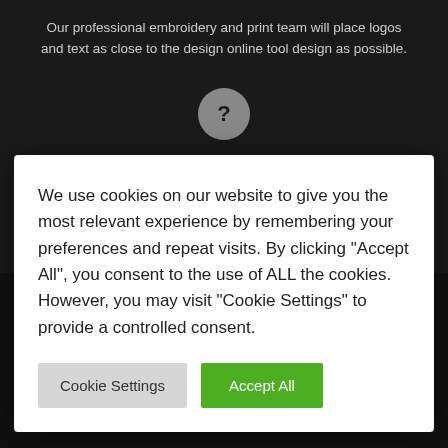Our professional embroidery and print team will place logos and text as close to the design online tool design as possible.
[Figure (other): Gray circle with question mark icon]
We use cookies on our website to give you the most relevant experience by remembering your preferences and repeat visits. By clicking “Accept All”, you consent to the use of ALL the cookies. However, you may visit “Cookie Settings” to provide a controlled consent.
Cookie Settings
Accept All
SIZE GUIDE
Find your perfect fit
[Figure (other): Gray circle with needle/embroidery icon]
[Figure (other): White speech bubble/chat circle icon]
HANDMADE CUSTOM PRODUCTS